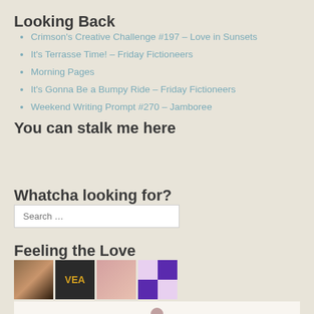Looking Back
Crimson's Creative Challenge #197 – Love in Sunsets
It's Terrasse Time! – Friday Fictioneers
Morning Pages
It's Gonna Be a Bumpy Ride – Friday Fictioneers
Weekend Writing Prompt #270 – Jamboree
You can stalk me here
Whatcha looking for?
Search …
Feeling the Love
[Figure (photo): Grid of avatar/profile images for followers or followed blogs]